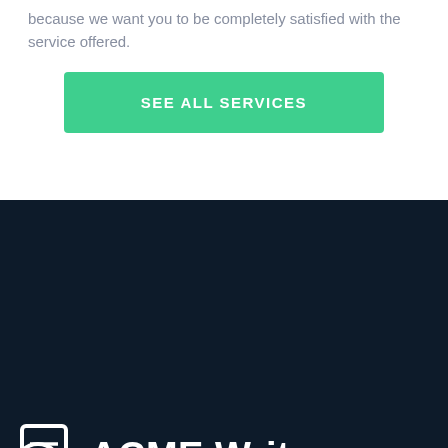because we want you to be completely satisfied with the service offered.
[Figure (other): Green button labeled SEE ALL SERVICES]
[Figure (logo): ACME Writers logo with document icon and white text on dark navy background]
MAIN LINKS
RESOURCES
TERMS
[Figure (other): Green Chat now button with chat icon on the right]